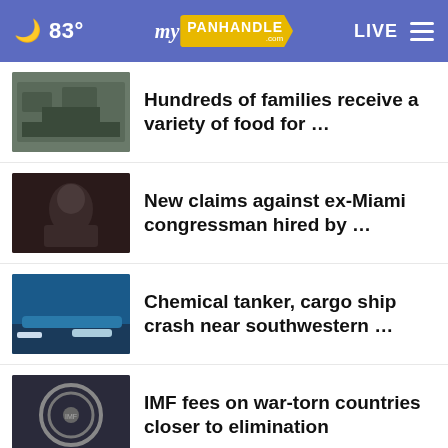🌙 83° myPanhandle.com LIVE
Hundreds of families receive a variety of food for …
New claims against ex-Miami congressman hired by …
Chemical tanker, cargo ship crash near southwestern …
IMF fees on war-torn countries closer to elimination
Fire officials talk lightning safety after multiple …
More Stories >